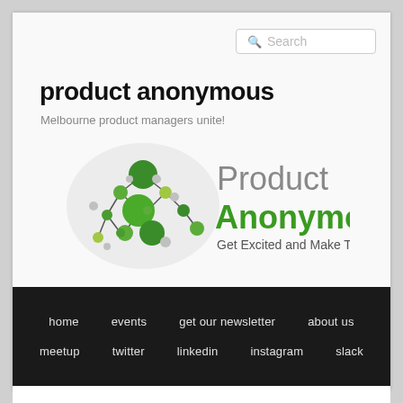Search
product anonymous
Melbourne product managers unite!
[Figure (logo): Product Anonymous logo with green molecule/network graphic and text 'Product Anonymous - Get Excited and Make Things']
home  events  get our newsletter  about us  meetup  twitter  linkedin  instagram  slack
MONTHLY ARCHIVES: SEPTEMBER 2019